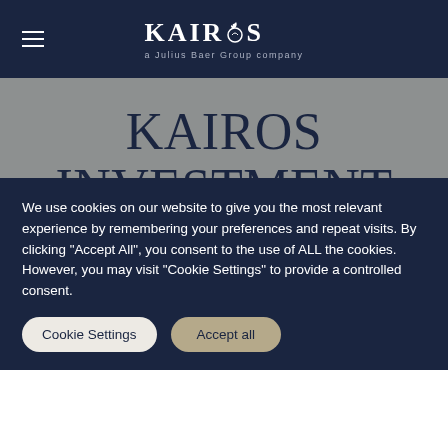KAIROS a Julius Baer Group company
KAIROS INVESTMENT MANAGEMENT LIMITED – GENERAL PRIVACY NOTICE
We use cookies on our website to give you the most relevant experience by remembering your preferences and repeat visits. By clicking "Accept All", you consent to the use of ALL the cookies. However, you may visit "Cookie Settings" to provide a controlled consent.